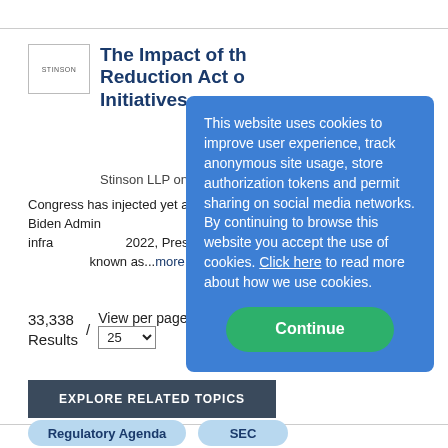[Figure (logo): Stinson LLP small logo box with text]
The Impact of the Inflation Reduction Act on Infrastructure Initiatives
Stinson LLP on 8/29/2022
Congress has injected yet another round of funding as the Biden Administration shapes the future of America's infrastructure. In 2022, President Biden signed landmark legislation known as...more
33,338 Results
View per page 25
This website uses cookies to improve user experience, track anonymous site usage, store authorization tokens and permit sharing on social media networks. By continuing to browse this website you accept the use of cookies. Click here to read more about how we use cookies.
Continue
EXPLORE RELATED TOPICS
Regulatory Agenda
SEC